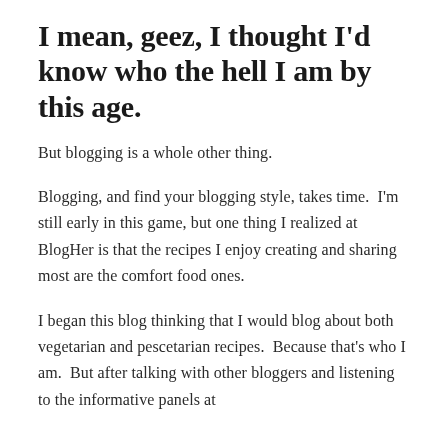I mean, geez, I thought I'd know who the hell I am by this age.
But blogging is a whole other thing.
Blogging, and find your blogging style, takes time.  I'm still early in this game, but one thing I realized at BlogHer is that the recipes I enjoy creating and sharing most are the comfort food ones.
I began this blog thinking that I would blog about both vegetarian and pescetarian recipes.  Because that's who I am.  But after talking with other bloggers and listening to the informative panels at